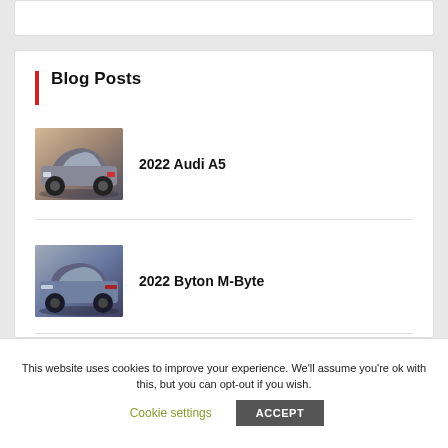Blog Posts
[Figure (photo): 2022 Audi A5 car photo thumbnail]
2022 Audi A5
[Figure (photo): 2022 Byton M-Byte car photo thumbnail]
2022 Byton M-Byte
This website uses cookies to improve your experience. We'll assume you're ok with this, but you can opt-out if you wish.